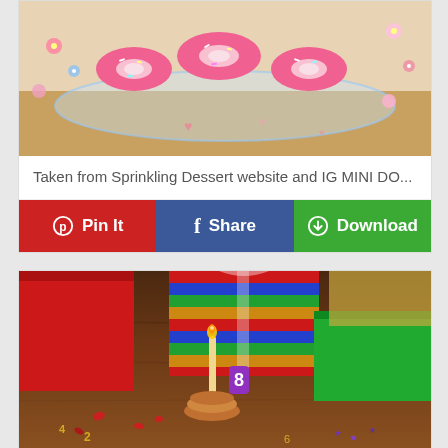[Figure (photo): Pink frosted donuts with sprinkles on a glass plate, with colorful flower decorations around the edges]
Taken from Sprinkling Dessert website and IG MINI DO...
[Figure (infographic): Social sharing button bar with Pinterest Pin It (red), Facebook Share (blue), and Download (green) buttons]
[Figure (photo): Birthday scene with a donut and lit candle, an '8' candle, wrapped gift boxes (red, multicolored striped, green), and scattered confetti on a wooden table]